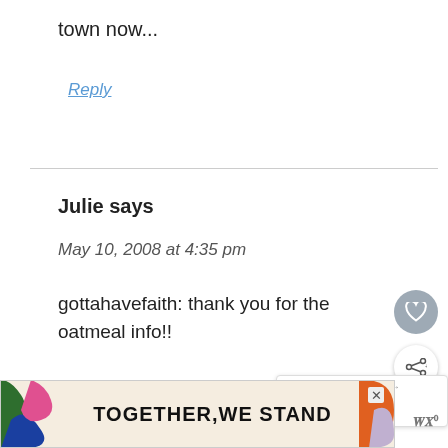town now...
Reply
Julie says
May 10, 2008 at 4:35 pm
gottahavefaith: thank you for the oatmeal info!!
Reply
[Figure (other): Advertisement banner reading TOGETHER WE STAND with colorful abstract shapes]
[Figure (other): What's Next card with thumbnail image showing Absolutely Fabulous...]